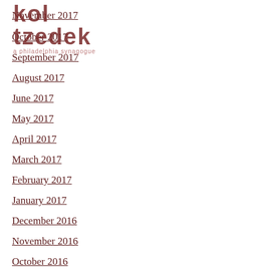[Figure (logo): Kol Tzedek Philadelphia Synagogue logo overlaid on top of the list]
November 2017
October 2017
September 2017
August 2017
June 2017
May 2017
April 2017
March 2017
February 2017
January 2017
December 2016
November 2016
October 2016
CATEGORIES
All
RSS Feed